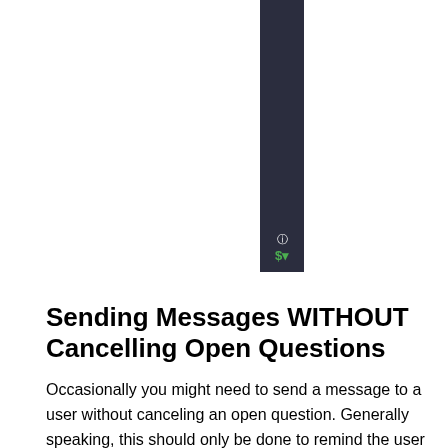[Figure (screenshot): Dark sidebar UI element with a settings/info icon and a green dollar sign icon at the bottom]
Sending Messages WITHOUT Cancelling Open Questions
Occasionally you might need to send a message to a user without canceling an open question. Generally speaking, this should only be done to remind the user to answer the question, or to provide some kind of urgent update, because if it draws the users attention away from the question you are waiting on them to answer it will make it less likely that they answer the question properly, and more likely that they will become confused when they interact with your bot and the bot interpreted their interaction